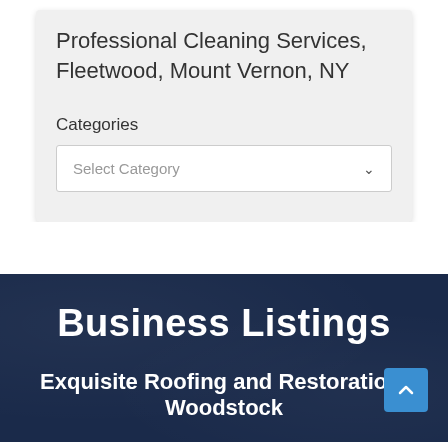Professional Cleaning Services, Fleetwood, Mount Vernon, NY
Categories
[Figure (screenshot): A dropdown select box with placeholder text 'Select Category' and a chevron/arrow on the right]
Business Listings
Exquisite Roofing and Restoration- Woodstock